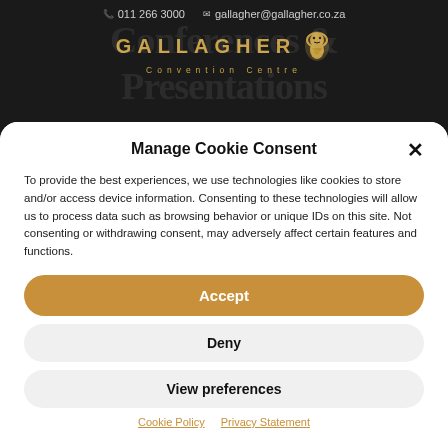011 266 3000 | gallagher@gallagher.co.za | GALLAGHER Convention Centre
Manage Cookie Consent
To provide the best experiences, we use technologies like cookies to store and/or access device information. Consenting to these technologies will allow us to process data such as browsing behavior or unique IDs on this site. Not consenting or withdrawing consent, may adversely affect certain features and functions.
Accept
Deny
View preferences
Cookie Policy | Privacy Statement